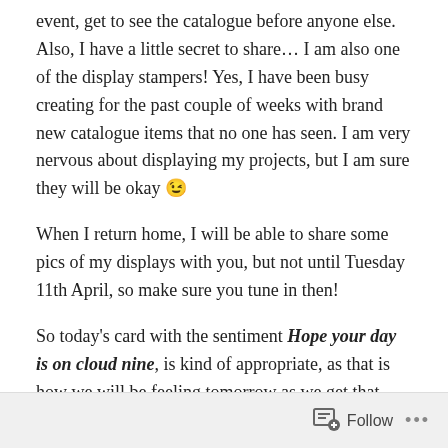event, get to see the catalogue before anyone else. Also, I have a little secret to share… I am also one of the display stampers! Yes, I have been busy creating for the past couple of weeks with brand new catalogue items that no one has seen. I am very nervous about displaying my projects, but I am sure they will be okay 😉
When I return home, I will be able to share some pics of my displays with you, but not until Tuesday 11th April, so make sure you tune in then!
So today's card with the sentiment Hope your day is on cloud nine, is kind of appropriate, as that is how we will be feeling tomorrow as we get that catalogue in our hands!!!!!
Follow